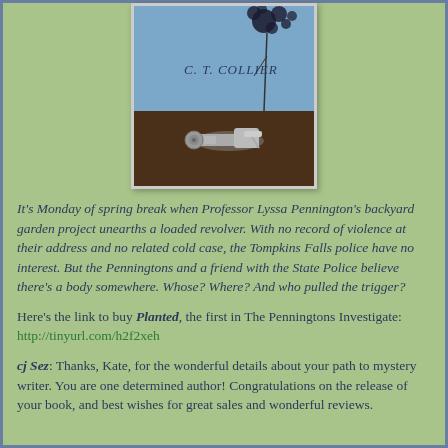[Figure (illustration): Book cover for a mystery novel by C. T. Collier showing a blue upper half with the author name and a dark earth/soil lower half with a revolver lying on the ground]
It's Monday of spring break when Professor Lyssa Pennington's backyard garden project unearths a loaded revolver. With no record of violence at their address and no related cold case, the Tompkins Falls police have no interest. But the Penningtons and a friend with the State Police believe there's a body somewhere. Whose? Where? And who pulled the trigger?
Here's the link to buy Planted, the first in The Penningtons Investigate: http://tinyurl.com/h2f2xeh
cj Sez: Thanks, Kate, for the wonderful details about your path to mystery writer. You are one determined author! Congratulations on the release of your book, and best wishes for great sales and wonderful reviews.